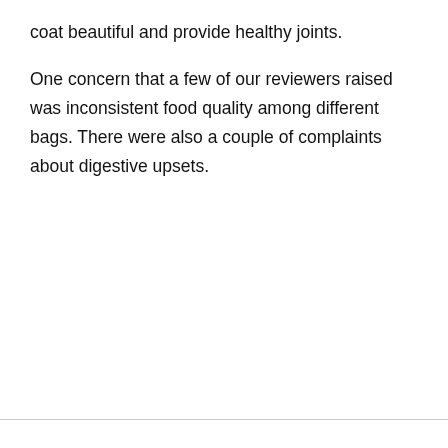coat beautiful and provide healthy joints.
One concern that a few of our reviewers raised was inconsistent food quality among different bags. There were also a couple of complaints about digestive upsets.